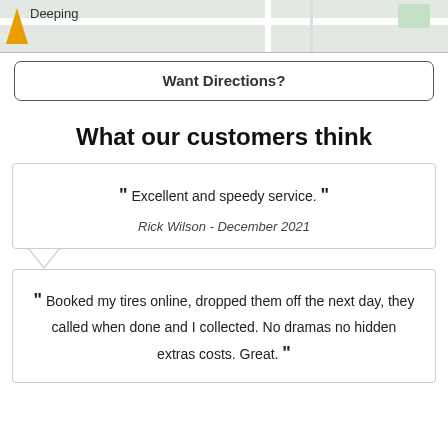[Figure (map): Map strip showing street layout with 'Deeping' label, a yellow triangle marker on the left, and a green patch on the right.]
Want Directions?
What our customers think
“ Excellent and speedy service. ”
Rick Wilson - December 2021
“ Booked my tires online, dropped them off the next day, they called when done and I collected. No dramas no hidden extras costs. Great. ”